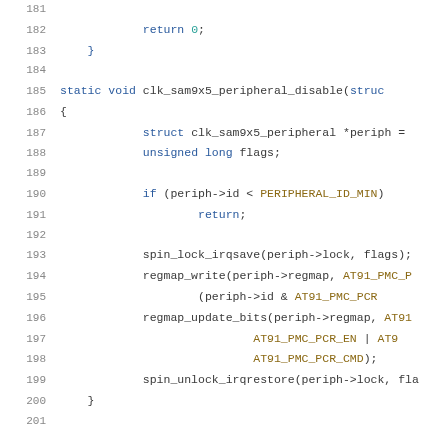Source code listing lines 181–201, C kernel clock driver function clk_sam9x5_peripheral_disable
181: (empty)
182:         return 0;
183: }
184: (empty)
185: static void clk_sam9x5_peripheral_disable(struct ...
186: {
187:         struct clk_sam9x5_peripheral *periph = ...
188:         unsigned long flags;
189: (empty)
190:         if (periph->id < PERIPHERAL_ID_MIN)
191:                 return;
192: (empty)
193:         spin_lock_irqsave(periph->lock, flags);
194:         regmap_write(periph->regmap, AT91_PMC_P...
195:                 (periph->id & AT91_PMC_PCR...
196:         regmap_update_bits(periph->regmap, AT91...
197:                         AT91_PMC_PCR_EN | AT9...
198:                         AT91_PMC_PCR_CMD);
199:         spin_unlock_irqrestore(periph->lock, fla...
200: }
201: (empty)